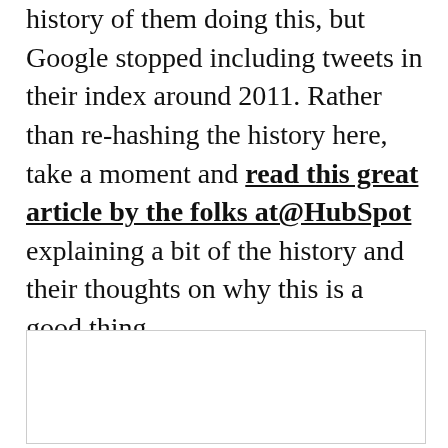history of them doing this, but Google stopped including tweets in their index around 2011. Rather than re-hashing the history here, take a moment and read this great article by the folks at@HubSpot explaining a bit of the history and their thoughts on why this is a good thing.
ADVERTISEMENT